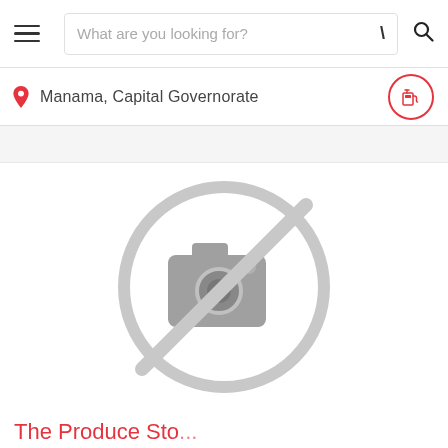What are you looking for?
Manama, Capital Governorate
[Figure (screenshot): No image available placeholder — a grey circle with a camera-off icon (camera with a diagonal slash through it)]
The Produce Sto...